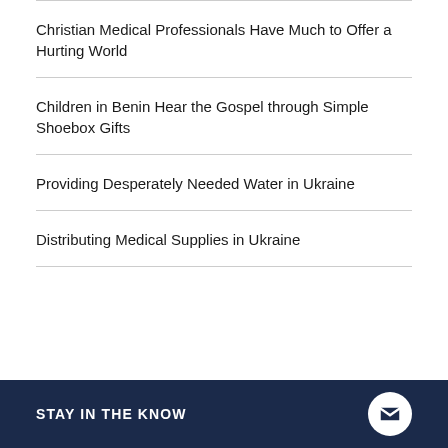Christian Medical Professionals Have Much to Offer a Hurting World
Children in Benin Hear the Gospel through Simple Shoebox Gifts
Providing Desperately Needed Water in Ukraine
Distributing Medical Supplies in Ukraine
STAY IN THE KNOW